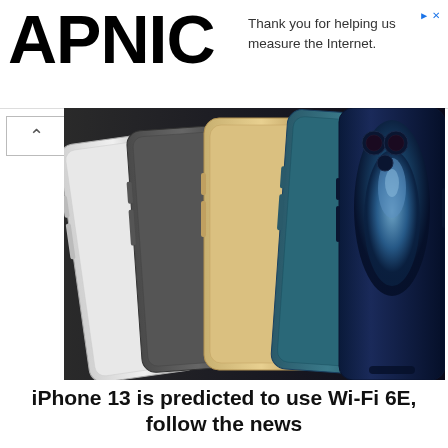APNIC
Thank you for helping us measure the Internet.
[Figure (photo): Four iPhone 12 Pro models shown from the back, fanned out: silver, graphite, gold, and Pacific Blue colors]
iPhone 13 is predicted to use Wi-Fi 6E, follow the news
Share